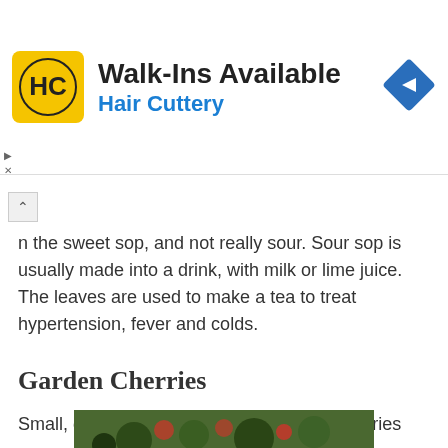[Figure (other): Hair Cuttery advertisement banner with logo, 'Walk-Ins Available' text, and navigation arrow icon]
n the sweet sop, and not really sour. Sour sop is usually made into a drink, with milk or lime juice. The leaves are used to make a tea to treat hypertension, fever and colds.
Garden Cherries
Small, often excruciatingly sour, garden cherries grow on small shrubby trees which give easy access to small children. They have a corky seed that is often swallowed by children despite dire warnings from their mothers.
[Figure (photo): Partial photo of garden cherries on a tree, visible at the bottom of the page]